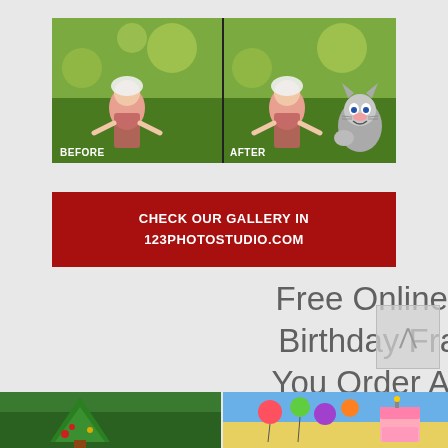[Figure (photo): Before and after comparison photos side by side. Left panel shows a young girl in a pink dress and white hat on green grass, labeled BEFORE. Right panel shows the same girl with a cartoon cat (Tom) added, labeled AFTER.]
CHECK OUR GALLERY IN 123PHOTOSTUDIO.COM
Free Online Photo With Birthday Frames When You Order Any Package
[Figure (photo): Two partial images at the bottom: left shows a child near a Christmas tree, right shows a colorful birthday-themed photo.]